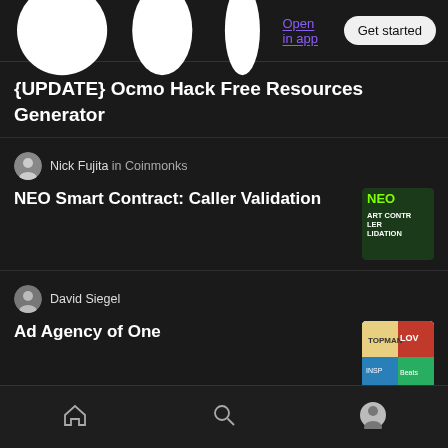Medium — Open in app | Get started
{UPDATE} Ocmo Hack Free Resources Generator
Nick Fujita in Coinmonks
NEO Smart Contract: Caller Validation
[Figure (illustration): NEO article thumbnail: black background with green NEO text and white ART CONTR LER LIDATION text]
David Siegel
Ad Agency of One
[Figure (photo): Colorful magazine collage thumbnail]
Cullen Munson
Time to Read The Fine Print
[Figure (photo): Eye chart thumbnail with large E and glasses]
Home | Search | Profile